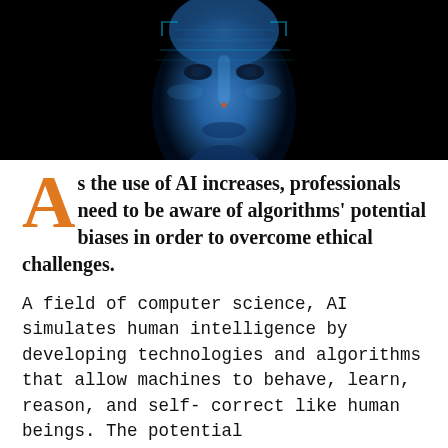[Figure (photo): Close-up of a blue-toned humanoid AI face with digital scan lines overlaid on a dark/black background, viewed from the front, partially cropped at the top.]
As the use of AI increases, professionals need to be aware of algorithms' potential biases in order to overcome ethical challenges.
A field of computer science, AI simulates human intelligence by developing technologies and algorithms that allow machines to behave, learn, reason, and self-correct like human beings. The potential